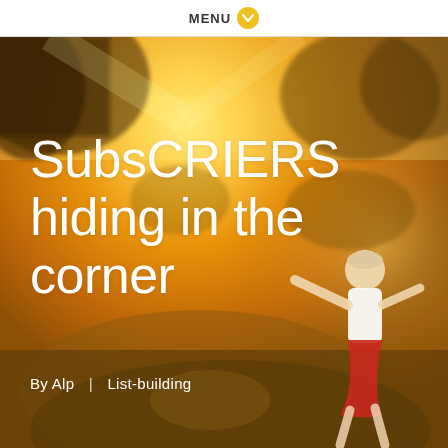MENU
[Figure (photo): A young girl in a white tank top and red patterned shorts runs/dances joyfully on a dirt path outdoors, with warm golden sunlight and trees in the background]
SubsCRIERS hiding in the corner
By Alp  |  List-building